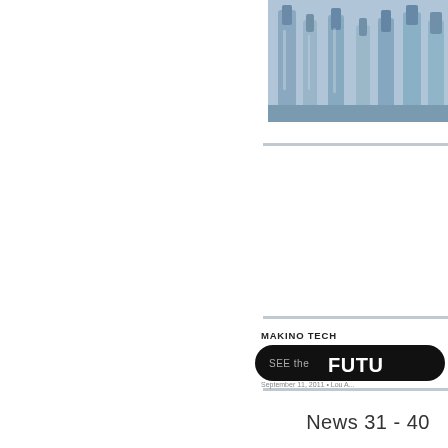[Figure (photo): Close-up photo of precision machining tools or spindle components in blue-tinted industrial setting, partially cropped on the right edge]
[Figure (logo): Makino Technology Solutions logo with 'SEE the FUTURE' branding on a black rounded rectangle badge, with event date text below]
News 31 - 40